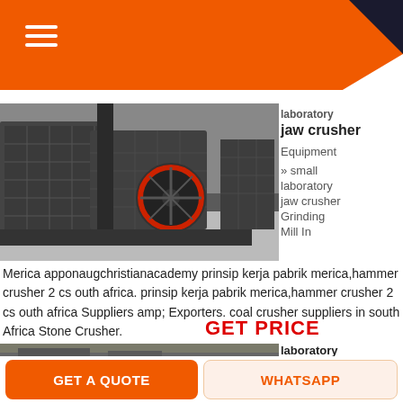[Figure (photo): Orange navigation header bar with hamburger menu icon on a mining equipment website]
[Figure (photo): Industrial jaw crusher / hammer crusher machine in a factory or warehouse setting, large grey metal equipment with circular red flywheel]
laboratory jaw crusher
Equipment
» small laboratory jaw crusher
Grinding Mill In
Merica apponaugchristianacademy prinsip kerja pabrik merica,hammer crusher 2 cs outh africa. prinsip kerja pabrik merica,hammer crusher 2 cs outh africa Suppliers amp; Exporters. coal crusher suppliers in south Africa Stone Crusher.
GET PRICE
[Figure (photo): Partial view of another crusher or mill machine at the bottom of the page]
laboratory
GET A QUOTE
WHATSAPP